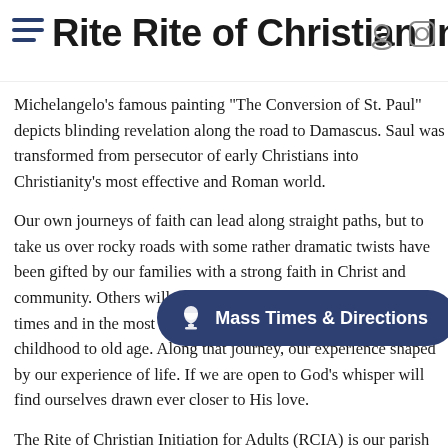Rite Rite of Christian Initiation of A
Michelangelo's famous painting "The Conversion of St. Paul" depicts blinding revelation along the road to Damascus. Saul was transformed from persecutor of early Christians into Christianity's most effective and Roman world.
Our own journeys of faith can lead along straight paths, but to take us over rocky roads with some rather dramatic twists have been gifted by our families with a strong faith in Christ and community. Others will discover Jesus in the most unexpected times and in the most unlikely people. Our lives roads from childhood to old age. Along that journey, our experience shaped by our experience of life. If we are open to God's whisper will find ourselves drawn ever closer to His love.
The Rite of Christian Initiation for Adults (RCIA) is our parish outreach to anyone whose faith journey has led them to investigate the Catholic Church, and we invite you to join us in full communion. The RCIA process begins with inquiry team during which an inquirer may reflect on their
[Figure (other): Mass Times & Directions button - dark navy pill-shaped button with a chalice/goblet icon on the left and white text reading 'Mass Times & Directions']